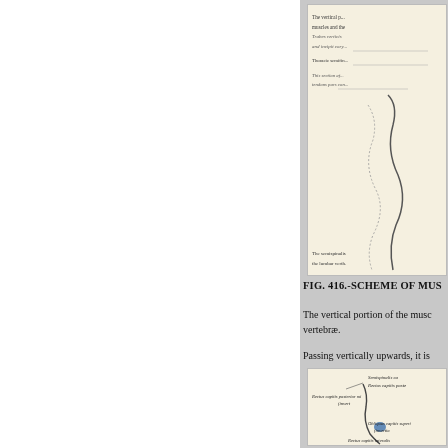[Figure (illustration): Top partial anatomical diagram (muscles scheme), partially visible at upper right, with labeled text lines and a curve outline.]
FIG. 416.-SCHEME OF MUS
The vertical portion of the muscle vertebræ.
Passing vertically upwards, it is
[Figure (illustration): Bottom anatomical diagram showing muscles of the head/neck region with labels: Semispinalis ca, Rectus capitis poste, Rectus capitis posterior mi (insertion), Obliquus capitis superi (insertion), Rectus capitis lateralis.]